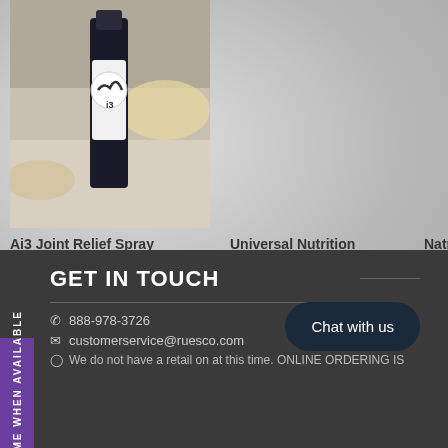[Figure (photo): Photo of Ai3 Joint Relief Spray bottle on a marble surface with food items in background]
Ai3 Joint Relief Spray
Universal Nutrition Animal Flex Powder
Natr Cho
$ 36.95
$ 28.95
NOTIFY ME WHEN AVAILABLE
GET IN TOUCH
888-978-3726
customerservice@ruesco.com
We do not have a retail on at this time. ONLINE ORDERING IS
Chat with us